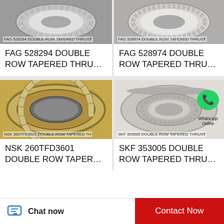[Figure (photo): FAG 528294 double row tapered thrust bearing product image]
FAG 528294 DOUBLE ROW TAPERED THRU…
[Figure (photo): FAG 528974 double row tapered thrust bearing product image]
FAG 528974 DOUBLE ROW TAPERED THRU…
[Figure (photo): NSK 260TFD3601 double row tapered thrust bearing product image with WhatsApp Online overlay]
NSK 260TFD3601 DOUBLE ROW TAPER…
[Figure (photo): SKF 353005 double row tapered thrust bearing product image]
SKF 353005 DOUBLE ROW TAPERED THRU…
Chat now
Contact Now